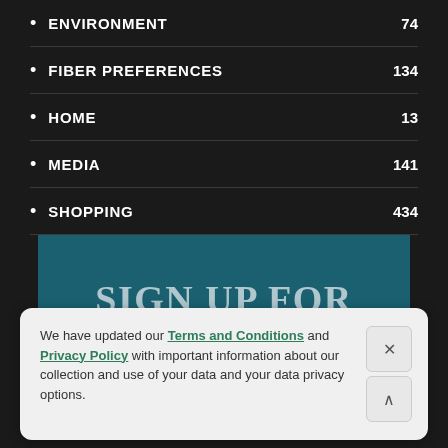ENVIRONMENT  74
FIBER PREFERENCES  134
HOME  13
MEDIA  141
SHOPPING  434
SIGN UP FOR EMAIL.
We have updated our Terms and Conditions and Privacy Policy with important information about our collection and use of your data and your data privacy options.